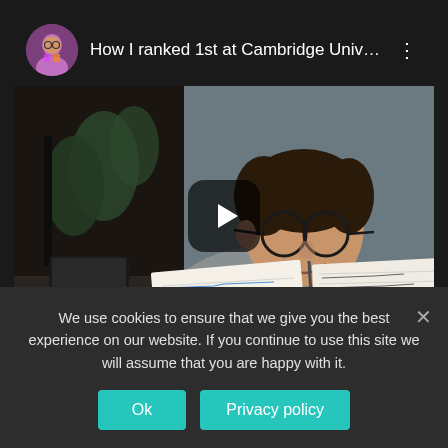[Figure (screenshot): YouTube-style video card showing a young man with glasses looking at a spiral notebook filled with handwritten notes. Card header has circular avatar, title 'How I ranked 1st at Cambridge Univ…', and a three-dot menu. A play button overlay is centered on the thumbnail.]
We use cookies to ensure that we give you the best experience on our website. If you continue to use this site we will assume that you are happy with it.
Ok
Privacy policy